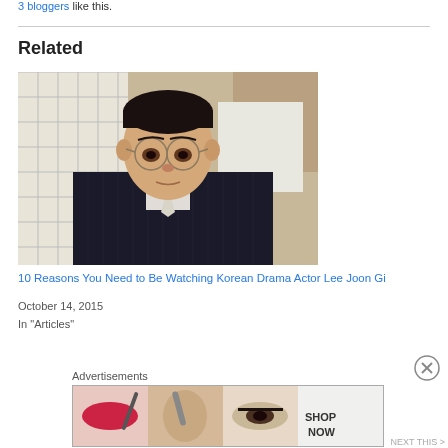3 bloggers like this.
Related
[Figure (photo): Korean drama actor Lee Joon Gi wearing round glasses and a pinstripe suit, looking serious, in a period drama scene with traditional window lattice in background.]
10 Reasons You Need to Be Watching Korean Drama Actor Lee Joon Gi
October 14, 2015
In "Articles"
Advertisements
[Figure (photo): Ulta Beauty advertisement banner showing makeup products and model images with SHOP NOW text.]